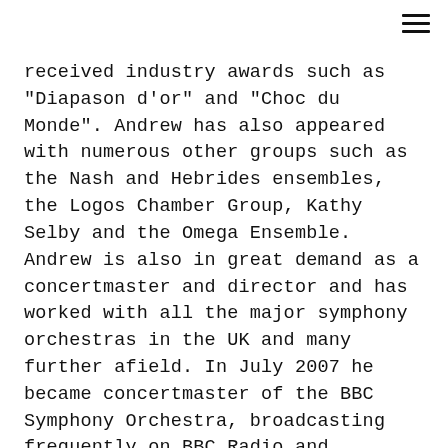[Figure (other): Hamburger menu icon (three horizontal lines) in the top-right corner]
received industry awards such as "Diapason d'or" and "Choc du Monde". Andrew has also appeared with numerous other groups such as the Nash and Hebrides ensembles, the Logos Chamber Group, Kathy Selby and the Omega Ensemble. Andrew is also in great demand as a concertmaster and director and has worked with all the major symphony orchestras in the UK and many further afield. In July 2007 he became concertmaster of the BBC Symphony Orchestra, broadcasting frequently on BBC Radio and enjoying many appearances at the BBC Proms including the famous “Last Night”. Joining the Philharmonia Orchestra in 2012 Andrew also led the ‘World Orchestra for Peace’ at the